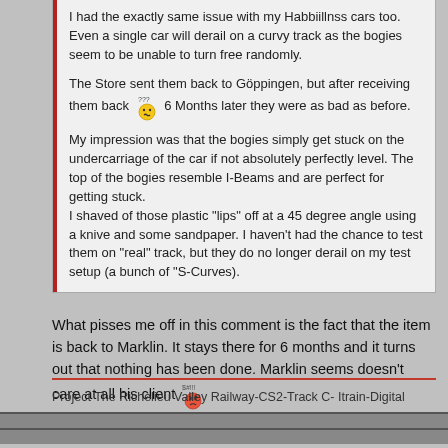I had the exactly same issue with my Habbiillnss cars too. Even a single car will derail on a curvy track as the bogies seem to be unable to turn free randomly.

The Store sent them back to Göppingen, but after receiving them back [confused emoji] 6 Months later they were as bad as before.

My impression was that the bogies simply get stuck on the undercarriage of the car if not absolutely perfectly level. The top of the bogies resemble I-Beams and are perfect for getting stuck.
I shaved of those plastic "lips" off at a 45 degree angle using a knive and some sandpaper. I haven't had the chance to test them on "real" track, but they do no longer derail on my test setup (a bunch of "S-Curves).
What pisses me off in this comment is the fact that the item is back to Marklin. It stays there for 6 months and it turns out that nothing has been done. Marklin seems doesn't care at all his client [angry emoji]

Damn it!!!

Thewolf
Project The Richelieu Valley Railway-CS2-Track C- Itrain-Digital